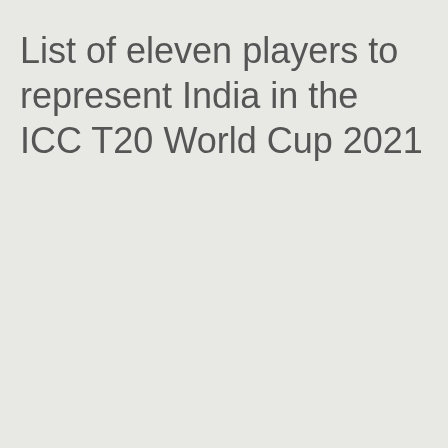List of eleven players to represent India in the ICC T20 World Cup 2021